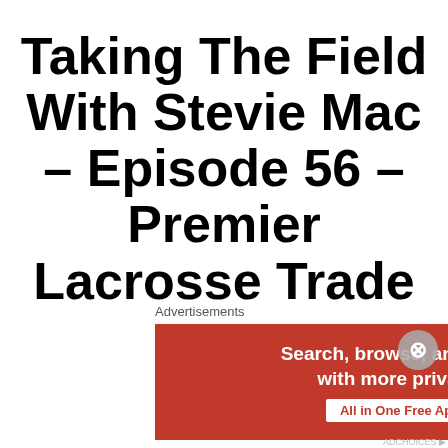Taking The Field With Stevie Mac – Episode 56 – Premier Lacrosse Trade Recap
On episode 56 of Taking The Field With Stevie Mac, Steven is joined by Phil Rothermich to discuss the recent trades in the
[Figure (other): DuckDuckGo advertisement banner with orange-red background on left reading 'Search, browse, and email with more privacy. All in One Free App' and dark right side with DuckDuckGo logo and brand name]